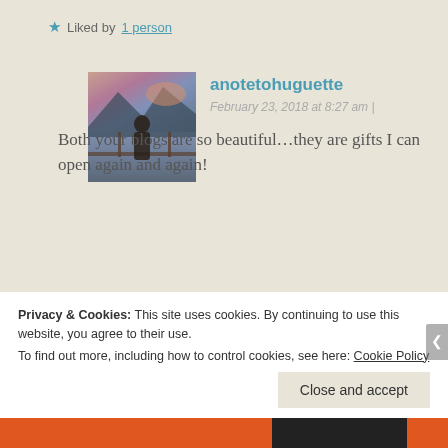★ Liked by 1 person
anotetohuguette
February 23, 2018 at 8:27 am |
[Figure (photo): Avatar photo of a person standing on a dock at sunset with mountains and boats in background]
Both your blogs are so beautiful…they are gifts I can open again and again!
★ Liked by 1 person
Hayley
[Figure (photo): Circular avatar photo of a blonde woman]
Privacy & Cookies: This site uses cookies. By continuing to use this website, you agree to their use.
To find out more, including how to control cookies, see here: Cookie Policy
Close and accept